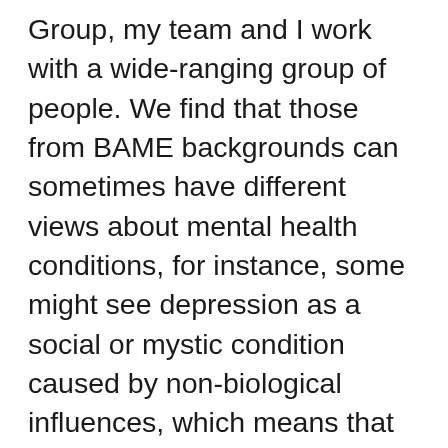Group, my team and I work with a wide-ranging group of people. We find that those from BAME backgrounds can sometimes have different views about mental health conditions, for instance, some might see depression as a social or mystic condition caused by non-biological influences, which means that they may delay seeking professional help. We’ve learned a lot about the communities we serve and the issues that they face, and that’s why we’re leading the charge when it comes to tacking the challenges faced by the BAME community and mental health care.’